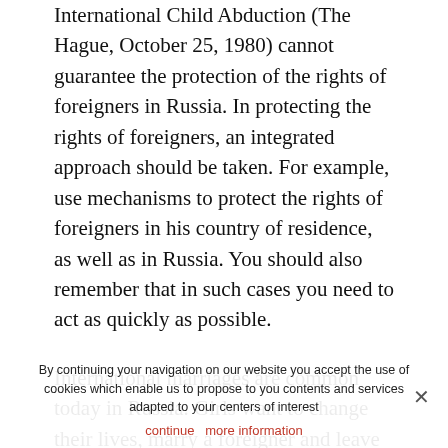International Child Abduction (The Hague, October 25, 1980) cannot guarantee the protection of the rights of foreigners in Russia. In protecting the rights of foreigners, an integrated approach should be taken. For example, use mechanisms to protect the rights of foreigners in his country of residence, as well as in Russia. You should also remember that in such cases you need to act as quickly as possible.
International marriages are common today in Russia. Girls want to change their lives, marry a foreigner and leave Russia. In turn, citizens of foreign countries see Russian beauties as caring and loving wives who create homeliness. It is not difficult to get to know a person from the other end of the world today. Simple enough to go online. Various dating sites are full of ads for people who are looking for a couple.
On the other hand, when it comes to creating a family